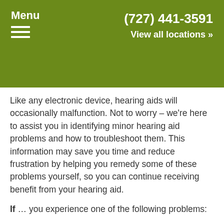Menu | (727) 441-3591 | View all locations »
Like any electronic device, hearing aids will occasionally malfunction. Not to worry – we're here to assist you in identifying minor hearing aid problems and how to troubleshoot them. This information may save you time and reduce frustration by helping you remedy some of these problems yourself, so you can continue receiving benefit from your hearing aid.
If … you experience one of the following problems:
Complete loss of sound
Weak or intermittent amplification